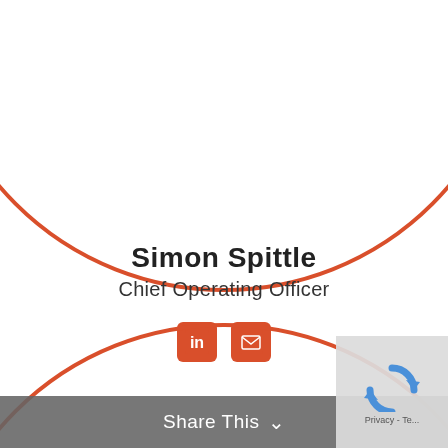[Figure (illustration): Large circular outline with orange/red border, partially visible at top of page, used as decorative profile image placeholder]
Simon Spittle
Chief Operating Officer
[Figure (illustration): Orange/red LinkedIn icon and orange/red email envelope icon side by side]
[Figure (illustration): Large circular outline with orange/red border, partially visible at bottom of page]
Share This